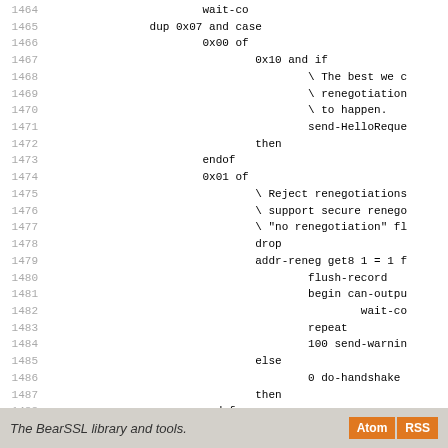Code listing lines 1464-1492 showing Forth/stack-based SSL renegotiation handling code
The BearSSL library and tools.